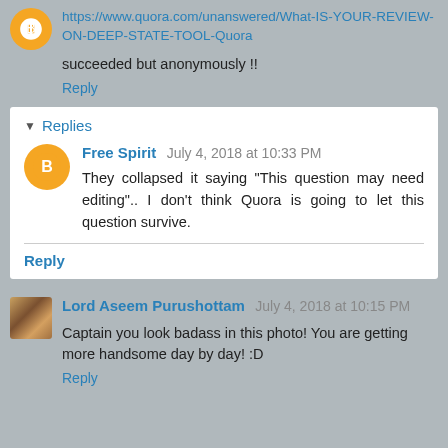https://www.quora.com/unanswered/What-IS-YOUR-REVIEW-ON-DEEP-STATE-TOOL-Quora
succeeded but anonymously !!
Reply
Replies
Free Spirit July 4, 2018 at 10:33 PM
They collapsed it saying "This question may need editing".. I don't think Quora is going to let this question survive.
Reply
Lord Aseem Purushottam July 4, 2018 at 10:15 PM
Captain you look badass in this photo! You are getting more handsome day by day! :D
Reply